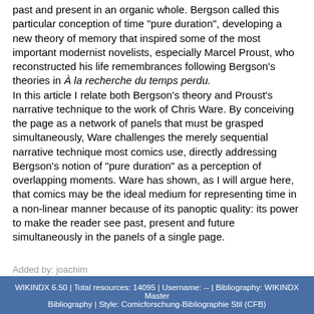past and present in an organic whole. Bergson called this particular conception of time "pure duration", developing a new theory of memory that inspired some of the most important modernist novelists, especially Marcel Proust, who reconstructed his life remembrances following Bergson's theories in À la recherche du temps perdu.
In this article I relate both Bergson's theory and Proust's narrative technique to the work of Chris Ware. By conceiving the page as a network of panels that must be grasped simultaneously, Ware challenges the merely sequential narrative technique most comics use, directly addressing Bergson's notion of "pure duration" as a perception of overlapping moments. Ware has shown, as I will argue here, that comics may be the ideal medium for representing time in a non-linear manner because of its panoptic quality: its power to make the reader see past, present and future simultaneously in the panels of a single page.
Added by: joachim
WIKINDX 6.50 | Total resources: 14095 | Username: -- | Bibliography: WIKINDX Master Bibliography | Style: Comicforschung-Bibliographie Stil (CFB)